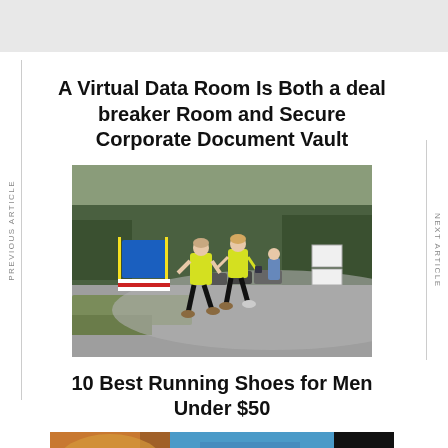[Figure (other): Gray top bar / banner area]
A Virtual Data Room Is Both a deal breaker Room and Secure Corporate Document Vault
[Figure (photo): Two runners in yellow high-visibility jackets running on a road near a roundabout with a blue sign and trees in background]
10 Best Running Shoes for Men Under $50
[Figure (photo): Partial photo at bottom showing running shoes, orange and blue tones]
[Figure (other): Black scroll-to-top button with upward arrow]